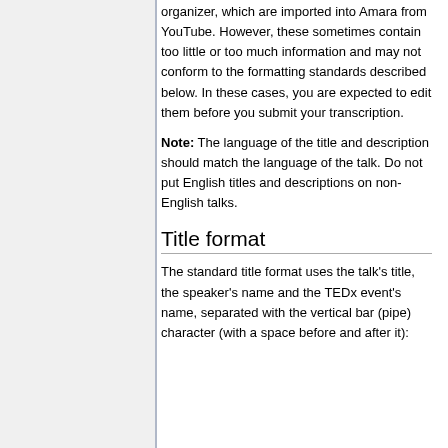organizer, which are imported into Amara from YouTube. However, these sometimes contain too little or too much information and may not conform to the formatting standards described below. In these cases, you are expected to edit them before you submit your transcription.
Note: The language of the title and description should match the language of the talk. Do not put English titles and descriptions on non-English talks.
Title format
The standard title format uses the talk's title, the speaker's name and the TEDx event's name, separated with the vertical bar (pipe) character (with a space before and after it):